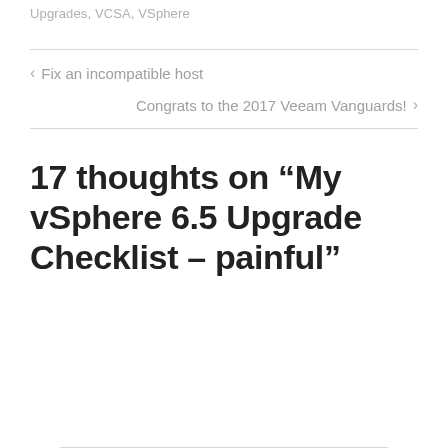Upgrades, VCSA, VSphere
< Fix an incompatible host
Congrats to the 2017 Veeam Vanguards! >
17 thoughts on “My vSphere 6.5 Upgrade Checklist – painful”